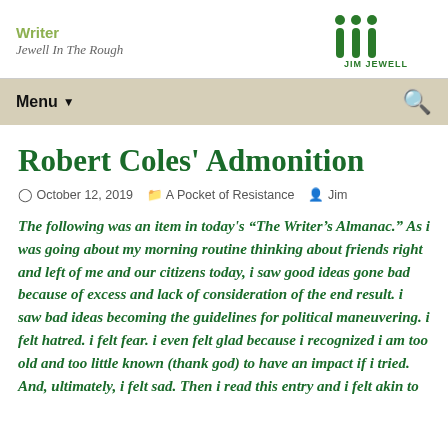Writer — Jewell In The Rough | Jim Jewell
Robert Coles' Admonition
October 12, 2019   A Pocket of Resistance   Jim
The following was an item in today's “The Writer’s Almanac.” As i was going about my morning routine thinking about friends right and left of me and our citizens today, i saw good ideas gone bad because of excess and lack of consideration of the end result. i saw bad ideas becoming the guidelines for political maneuvering. i felt hatred. i felt fear. i even felt glad because i recognized i am too old and too little known (thank god) to have an impact if i tried. And, ultimately, i felt sad. Then i read this entry and i felt akin to